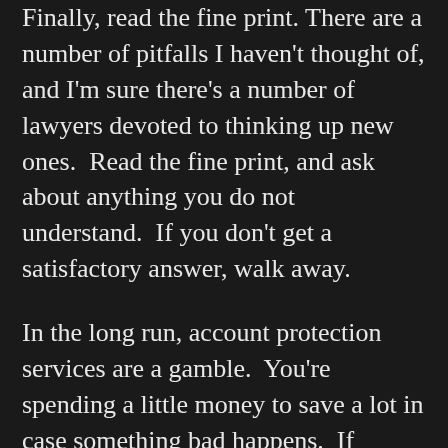Finally, read the fine print. There are a number of pitfalls I haven't thought of, and I'm sure there's a number of lawyers devoted to thinking up new ones. Read the fine print, and ask about anything you do not understand. If you don't get a satisfactory answer, walk away.
In the long run, account protection services are a gamble. You're spending a little money to save a lot in case something bad happens. If nothing bad happens, then the money you spent is gone with no return on the investment – whether you think that's wasted is up to you. Personally, if the price is low enough and there aren't too many loopholes rendering the service useless, I think it's worth it. Think of it as health insurance for your credit card. When